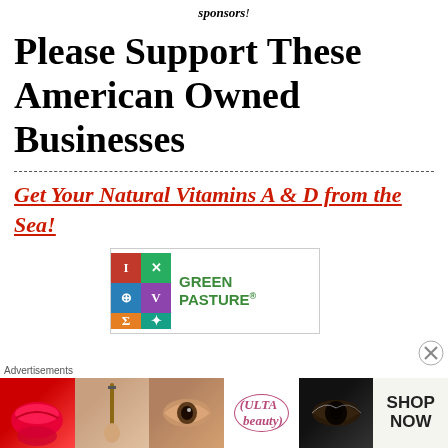sponsors!
Please Support These American Owned Businesses
Get Your Natural Vitamins A & D from the Sea!
[Figure (logo): Green Pasture logo with colorful grid of Greek/Christian symbols and green text reading GREEN PASTURE with registered trademark]
[Figure (photo): Advertisements banner showing Ulta beauty ad with lips, makeup brush, eye, Ulta logo, smoky eye, and SHOP NOW text]